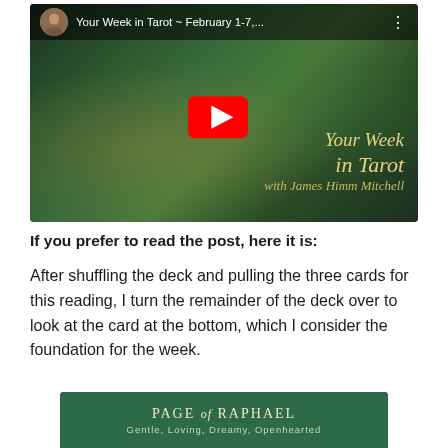[Figure (screenshot): YouTube video thumbnail for 'Your Week in Tarot ~ February 1-7,...' with James Himm Mitchell. Shows a tarot-themed image with a figure in green robes, a red YouTube play button, and gold italic text 'Your Week in Tarot with James Himm Mitchell'. Top bar shows avatar and video title.]
If you prefer to read the post, here it is:
After shuffling the deck and pulling the three cards for this reading, I turn the remainder of the deck over to look at the card at the bottom, which I consider the foundation for the week.
[Figure (illustration): Dark green banner card with text 'PAGE of RAPHAEL' in gold/cream serif letters and subtitle 'Gentle, Loving, Dreamy, Openhearted' in smaller green-tinted text.]